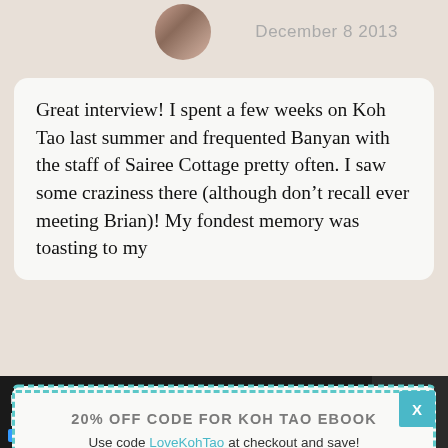December 8 2013
Great interview! I spent a few weeks on Koh Tao last summer and frequented Banyan with the staff of Sairee Cottage pretty often. I saw some craziness there (although don’t recall ever meeting Brian)! My fondest memory was toasting to my whiskey at Banyan at the same moment. It was beautiful and fitting for my life at the time
20% OFF CODE FOR KOH TAO EBOOK
Use code LoveKohTao at checkout and save!
Fund That Flip
Invest In Real Estate Online
OPEN